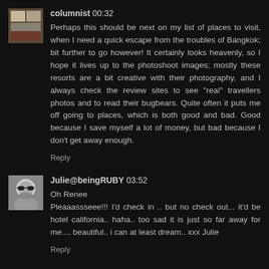columnist 00:32
Perhaps this should be next on my list of places to visit, when I need a quick escape from the troubles of Bangkok; bit further to go however! It certainly looks heavenly, so I hope it lives up to the photoshoot images; mostly these resorts are a bit creative with their photography, and I always check the review sites to see "real" travellers photos and to read their bugbears. Quite often it puts me off going to places, which is both good and bad. Good because I save myself a lot of money, but bad because I don't get away enough.
Reply
Julie@beingRUBY 03:52
Oh Renee
Pleaaassseee!!! I'd check in .. but no check out... it'd be hotel california.. haha.. too sad it is just so far away for me.... beautiful.. i can at least dream.. xxx Julie
Reply